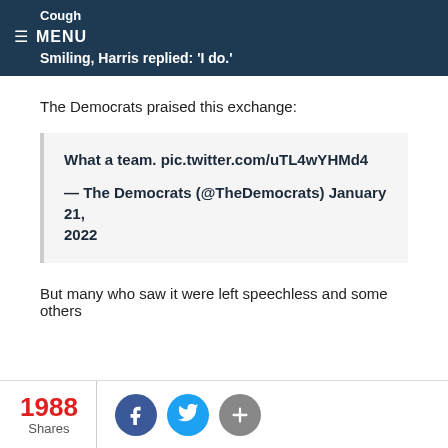Cough
MENU
Smiling, Harris replied: 'I do.'
The Democrats praised this exchange:
What a team. pic.twitter.com/uTL4wYHMd4

— The Democrats (@TheDemocrats) January 21, 2022
But many who saw it were left speechless and some others
1988 Shares